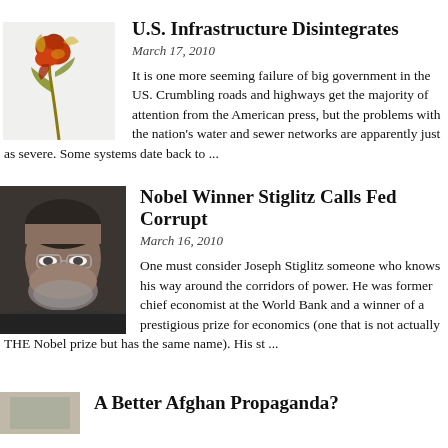[Figure (photo): A wilted golden/red rose against white background]
U.S. Infrastructure Disintegrates
March 17, 2010
It is one more seeming failure of big government in the US. Crumbling roads and highways get the majority of attention from the American press, but the problems with the nation's water and sewer networks are apparently just as severe. Some systems date back to ...
[Figure (photo): Portrait photo of an older man with glasses and grey beard, Joseph Stiglitz]
Nobel Winner Stiglitz Calls Fed Corrupt
March 16, 2010
One must consider Joseph Stiglitz someone who knows his way around the corridors of power. He was former chief economist at the World Bank and a winner of a prestigious prize for economics (one that is not actually THE Nobel prize but has the same name). His st ...
[Figure (photo): Partial image, bottom of page]
A Better Afghan Propaganda?